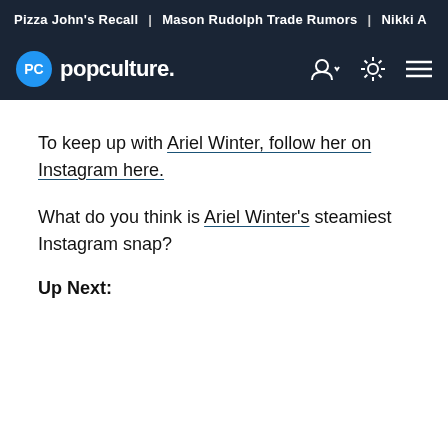Pizza John's Recall | Mason Rudolph Trade Rumors | Nikki A
[Figure (logo): PopCulture.com navigation bar with logo, user icon, brightness icon, and hamburger menu]
To keep up with Ariel Winter, follow her on Instagram here.
What do you think is Ariel Winter's steamiest Instagram snap?
Up Next: